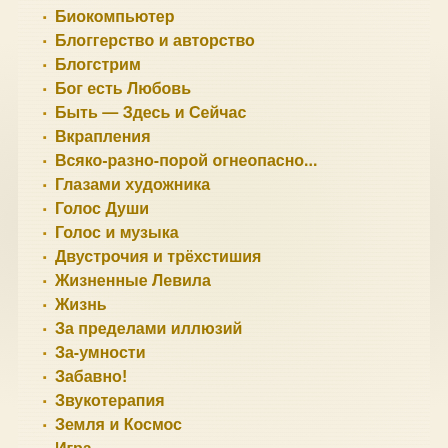Биокомпьютер
Блоггерство и авторство
Блогстрим
Бог есть Любовь
Быть — Здесь и Сейчас
Вкрапления
Всяко-разно-порой огнеопасно...
Глазами художника
Голос Души
Голос и музыка
Двустрочия и трёхстишия
Жизненные Левила
Жизнь
За пределами иллюзий
За-умности
Забавно!
Звукотерапия
Земля и Космос
Игра
Из старых записей
ИзоЛит
Иррациональное